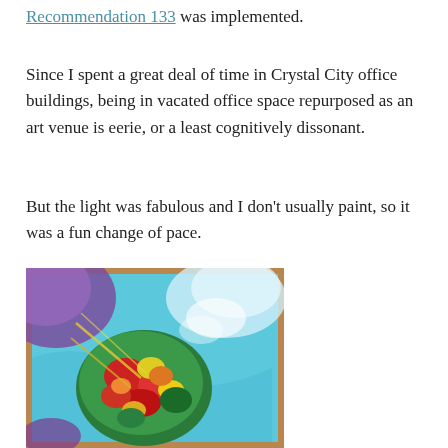Recommendation 133 was implemented.
Since I spent a great deal of time in Crystal City office buildings, being in vacated office space repurposed as an art venue is eerie, or a least cognitively dissonant.
But the light was fabulous and I don't usually paint, so it was a fun change of pace.
[Figure (photo): A colorful painting resting on a wooden surface. The painting features a central circular mass of thick impasto brushstrokes in vivid reds, greens, yellows, and oranges, resembling a tree or floral bouquet. The background of the painting is bright turquoise/sky blue with swirling white and purple areas in the upper corners.]